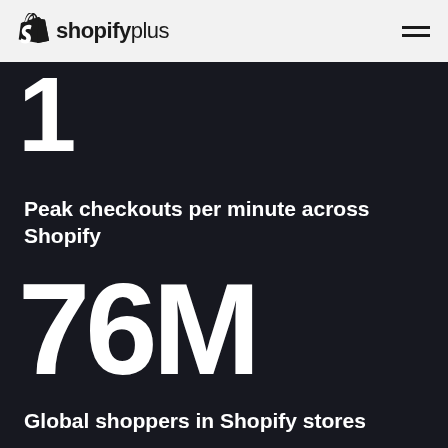shopify plus
10M
Peak checkouts per minute across Shopify
76M
Global shoppers in Shopify stores